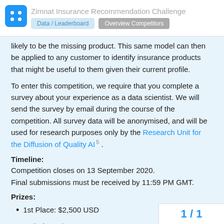Zimnat Insurance Recommendation Challenge
likely to be the missing product. This same model can then be applied to any customer to identify insurance products that might be useful to them given their current profile.
To enter this competition, we require that you complete a survey about your experience as a data scientist. We will send the survey by email during the course of the competition. All survey data will be anonymised, and will be used for research purposes only by the Research Unit for the Diffusion of Quality AI 5 .
Timeline:
Competition closes on 13 September 2020.
Final submissions must be received by 11:59 PM GMT.
Prizes:
1st Place: $2,500 USD
2nd Place: $1,500 USD
1 / 1